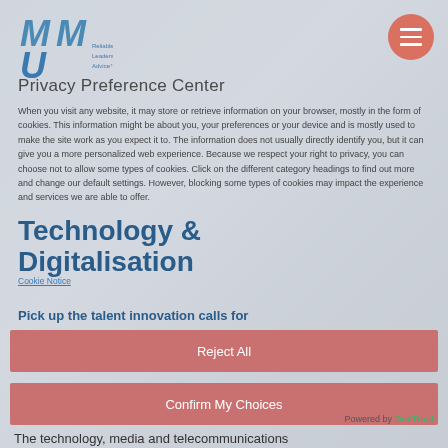[Figure (logo): MU MU logo with 'Reliable Leadership Advice' tagline]
Privacy Preference Center
When you visit any website, it may store or retrieve information on your browser, mostly in the form of cookies. This information might be about you, your preferences or your device and is mostly used to make the site work as you expect it to. The information does not usually directly identify you, but it can give you a more personalised web experience. Because we respect your right to privacy, you can choose not to allow some types of cookies. Click on the different category headings to find out more and change our default settings. However, blocking some types of cookies may impact the experience and services we are able to offer.
Technology & Digitalisation
Pick up the talent innovation calls for
Cookie Notice
Reject All
Confirm My Choices
Powered by OneTrust
The technology, media and telecommunications